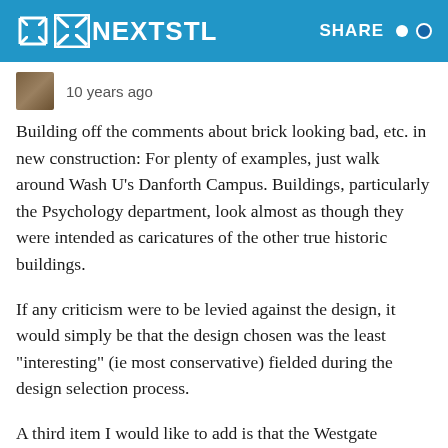NEXTSTL | SHARE
10 years ago
Building off the comments about brick looking bad, etc. in new construction: For plenty of examples, just walk around Wash U's Danforth Campus. Buildings, particularly the Psychology department, look almost as though they were intended as caricatures of the other true historic buildings.
If any criticism were to be levied against the design, it would simply be that the design chosen was the least "interesting" (ie most conservative) fielded during the design selection process.
A third item I would like to add is that the Westgate portion of the plan underutilizes the high volume of traffic that streams north from the main campus, across the pedestrian bridge, and north along Melville. While the midblock green break is nice and inviting, taking those same notions and applying them where Westgate meets the Loop would be more advantageous for business and provide a more pleasant